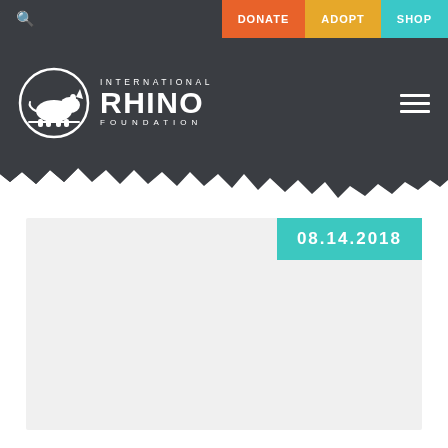DONATE | ADOPT | SHOP
[Figure (logo): International Rhino Foundation logo with rhino silhouette in circle and text]
08.14.2018